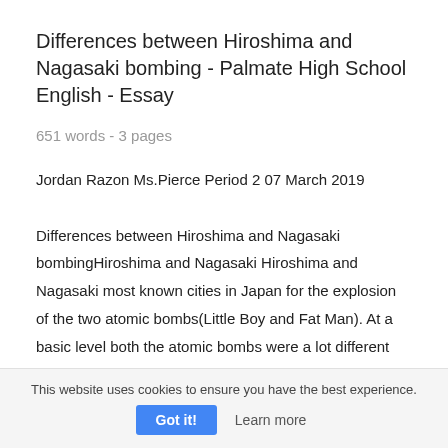Differences between Hiroshima and Nagasaki bombing - Palmate High School English - Essay
651 words - 3 pages
Jordan Razon Ms.Pierce Period 2 07 March 2019 Differences between Hiroshima and Nagasaki bombingHiroshima and Nagasaki Hiroshima and Nagasaki most known cities in Japan for the explosion of the two atomic bombs(Little Boy and Fat Man). At a basic level both the atomic bombs were a lot different from each other. More than 200,000 people died in Japan after U.S dropped the world's first atomic bomb
This website uses cookies to ensure you have the best experience.